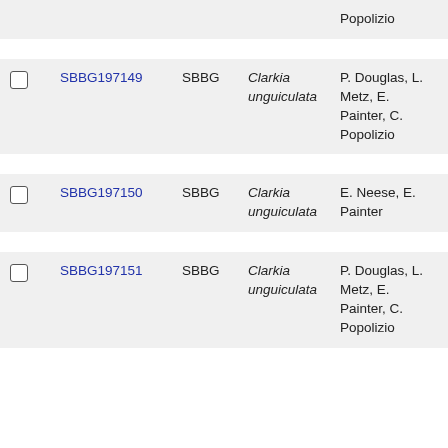|  | ID | Institution | Species | Collectors | Code |
| --- | --- | --- | --- | --- | --- |
|  |  |  |  | Popolizio |  |
| ☐ | SBBG197149 | SBBG | Clarkia unguiculata | P. Douglas, L. Metz, E. Painter, C. Popolizio | HL559 |
| ☐ | SBBG197150 | SBBG | Clarkia unguiculata | E. Neese, E. Painter | HL172 |
| ☐ | SBBG197151 | SBBG | Clarkia unguiculata | P. Douglas, L. Metz, E. Painter, C. Popolizio | HL585 |